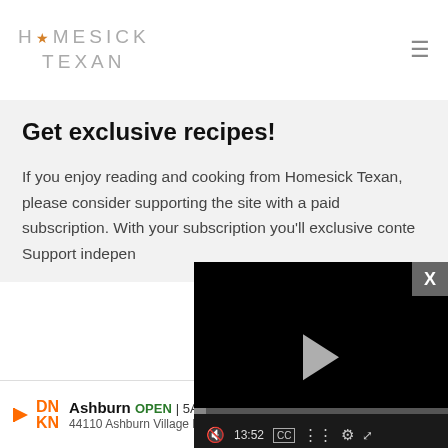HOMESICK TEXAN
Get exclusive recipes!
If you enjoy reading and cooking from Homesick Texan, please consider supporting the site with a paid subscription. With your subscription you'll exclusive content. Support indepen
[Figure (screenshot): Video player overlay showing a black video player with a play button in the center, a progress bar, time display 13:52, and controls for CC, chapters, settings, and fullscreen]
[Figure (infographic): Advertisement banner for Dunkin Donuts in Ashburn showing store name, OPEN status, hours 5AM-9PM, address 44110 Ashburn Village Blvd #184, Asht, and a blue navigation icon]